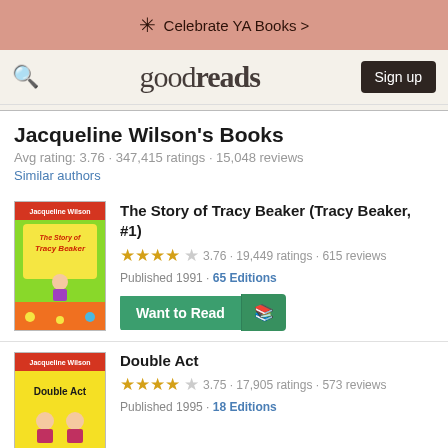Celebrate YA Books >
goodreads  Sign up
Jacqueline Wilson's Books
Avg rating: 3.76 · 347,415 ratings · 15,048 reviews
Similar authors
[Figure (photo): Book cover of The Story of Tracy Beaker by Jacqueline Wilson]
The Story of Tracy Beaker (Tracy Beaker, #1)
★★★★☆ 3.76 · 19,449 ratings · 615 reviews
Published 1991 · 65 Editions
Want to Read
[Figure (photo): Book cover of Double Act by Jacqueline Wilson]
Double Act
★★★★☆ 3.75 · 17,905 ratings · 573 reviews
Published 1995 · 18 Editions